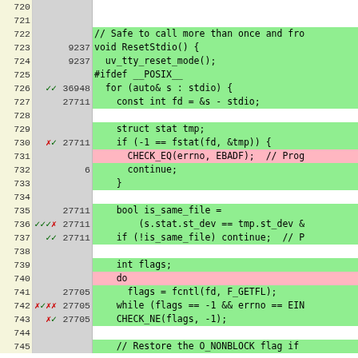[Figure (screenshot): Code coverage viewer showing C++ source code lines 720-745 with line numbers, branch markers (checkmarks/X marks in red/green), execution counts, and highlighted code lines (green for covered, pink for uncovered/partial). The code shows a ResetStdio() function implementation with file descriptor operations.]